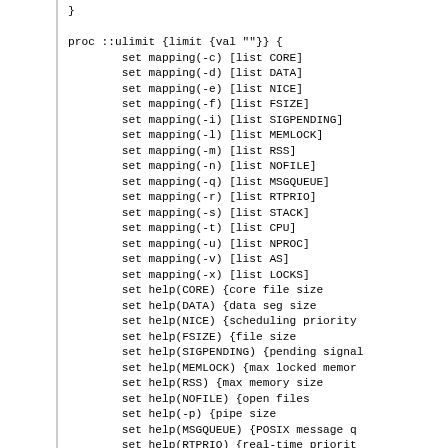}

proc ::ulimit {limit {val ""}} {
    set mapping(-c) [list CORE]
    set mapping(-d) [list DATA]
    set mapping(-e) [list NICE]
    set mapping(-f) [list FSIZE]
    set mapping(-i) [list SIGPENDING]
    set mapping(-l) [list MEMLOCK]
    set mapping(-m) [list RSS]
    set mapping(-n) [list NOFILE]
    set mapping(-q) [list MSGQUEUE]
    set mapping(-r) [list RTPRIO]
    set mapping(-s) [list STACK]
    set mapping(-t) [list CPU]
    set mapping(-u) [list NPROC]
    set mapping(-v) [list AS]
    set mapping(-x) [list LOCKS]
    set help(CORE) {core file size
    set help(DATA) {data seg size
    set help(NICE) {scheduling priority
    set help(FSIZE) {file size
    set help(SIGPENDING) {pending signals
    set help(MEMLOCK) {max locked memory
    set help(RSS) {max memory size
    set help(NOFILE) {open files
    set help(-p) {pipe size
    set help(MSGQUEUE) {POSIX message q
    set help(RTPRIO) {real-time priority
    set help(STACK) {stack size
    set help(CPU) {cpu time
    set help(NPROC) {max user processes
    set help(AS) {virtual